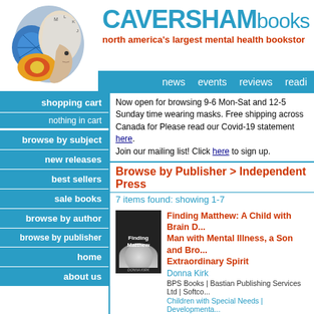[Figure (logo): Caversham Books logo with brain/head illustration]
CAVERSHAMbooks - north america's largest mental health bookstore
news   events   reviews   readi
shopping cart
nothing in cart
Now open for browsing 9-6 Mon-Sat and 12-5 Sunday time wearing masks. Free shipping across Canada for Please read our Covid-19 statement here. Join our mailing list! Click here to sign up.
Browse by Publisher > Independent Press
7 items found: showing 1-7
browse by subject
new releases
best sellers
sale books
browse by author
browse by publisher
home
about us
[Figure (photo): Book cover: Finding Matthew - A Child with Brain D... Man with Mental Illness, a Son and Bro... Extraordinary Spirit]
Finding Matthew: A Child with Brain D... Man with Mental Illness, a Son and Bro... Extraordinary Spirit
Donna Kirk
BPS Books | Bastian Publishing Services Ltd | Softco...
Children with Special Needs | Developmental...
price: $29.50 (in stock!)
[Figure (photo): Book cover: Beyond Engagement]
Beyond Engagement: A Brain-Based A... Blends the Engagement Managers Wa... Employees Need
Brady G. Wilson | Foreword by David Zinger
BPS Books | Bastian Publishing Services Ltd | Softco...
Work-related